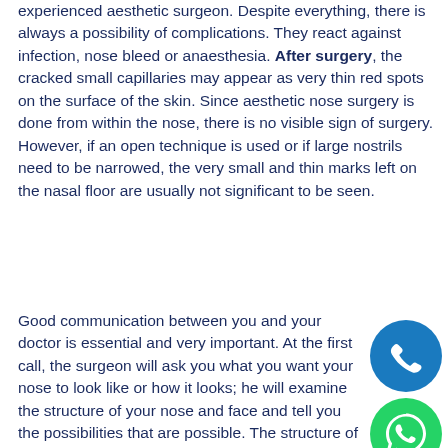experienced aesthetic surgeon. Despite everything, there is always a possibility of complications. They react against infection, nose bleed or anaesthesia. After surgery, the cracked small capillaries may appear as very thin red spots on the surface of the skin. Since aesthetic nose surgery is done from within the nose, there is no visible sign of surgery. However, if an open technique is used or if large nostrils need to be narrowed, the very small and thin marks left on the nasal floor are usually not significant to be seen.
Good communication between you and your doctor is essential and very important. At the first call, the surgeon will ask you what you want your nose to look like or how it looks; he will examine the structure of your nose and face and tell you the possibilities that are possible. The structure of your nasal bones and cartilage, the shape of your face, the thickness of your skin, your age and expectations are
[Figure (illustration): Blue circle icon with white telephone/phone handset symbol]
[Figure (illustration): Green circle icon with white WhatsApp logo symbol]